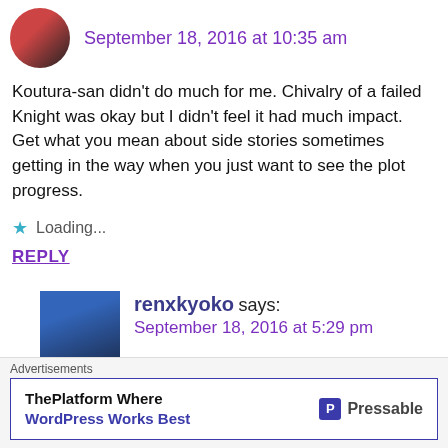September 18, 2016 at 10:35 am
Koutura-san didn't do much for me. Chivalry of a failed Knight was okay but I didn't feel it had much impact.
Get what you mean about side stories sometimes getting in the way when you just want to see the plot progress.
Loading...
REPLY
renxkyoko says:
September 18, 2016 at 5:29 pm
Advertisements
ThePlatform Where WordPress Works Best
Pressable